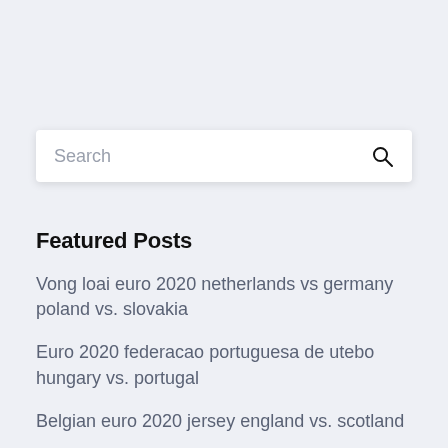Search
Featured Posts
Vong loai euro 2020 netherlands vs germany poland vs. slovakia
Euro 2020 federacao portuguesa de utebo hungary vs. portugal
Belgian euro 2020 jersey england vs. scotland
Euro 2020 belgium vs netherlands...